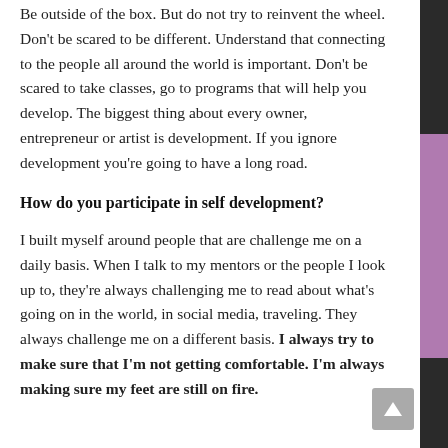Be outside of the box. But do not try to reinvent the wheel. Don’t be scared to be different. Understand that connecting to the people all around the world is important. Don’t be scared to take classes, go to programs that will help you develop. The biggest thing about every owner, entrepreneur or artist is development. If you ignore development you’re going to have a long road.
How do you participate in self development?
I built myself around people that are challenge me on a daily basis. When I talk to my mentors or the people I look up to, they’re always challenging me to read about what’s going on in the world, in social media, traveling. They always challenge me on a different basis. I always try to make sure that I’m not getting comfortable. I’m always making sure my feet are still on fire.